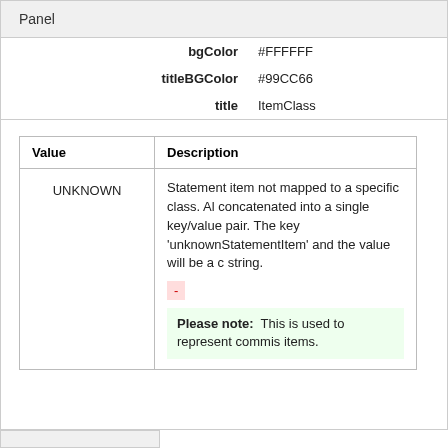Panel
| bgColor | #FFFFFF |
| titleBGColor | #99CC66 |
| title | ItemClass |
| Value | Description |
| --- | --- |
| UNKNOWN | Statement item not mapped to a specific class. Al... concatenated into a single key/value pair. The key... 'unknownStatementItem' and the value will be a c... string.
-
Please note: This is used to represent commis... items. |